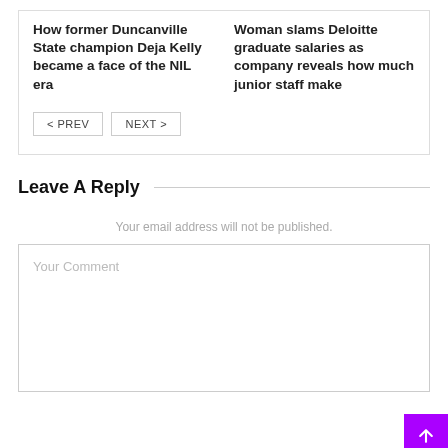How former Duncanville State champion Deja Kelly became a face of the NIL era
Woman slams Deloitte graduate salaries as company reveals how much junior staff make
< PREV
NEXT >
Leave A Reply
Your email address will not be published.
Your Comment